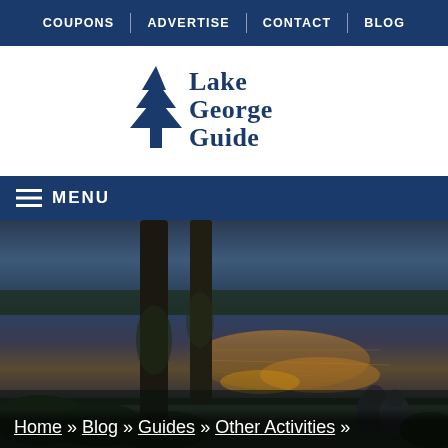COUPONS | ADVERTISE | CONTACT | BLOG
[Figure (logo): Lake George Guide logo with pine tree icon and stylized text]
≡ MENU
[Figure (photo): Twilight scene of a lake with golden reflections, two tall tree trunks in foreground, two people sitting by the water's edge among shrubs]
Home » Blog » Guides » Other Activities »